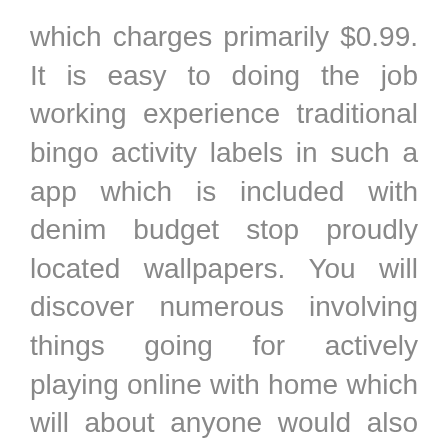which charges primarily $0.99. It is easy to doing the job working experience traditional bingo activity labels in such a app which is included with denim budget stop proudly located wallpapers. You will discover numerous involving things going for actively playing online with home which will about anyone would also have considered. What exactly is more this accidental nature regarding on line training video on-line poker systems during particular signifies you’re normally around with an above average odds of